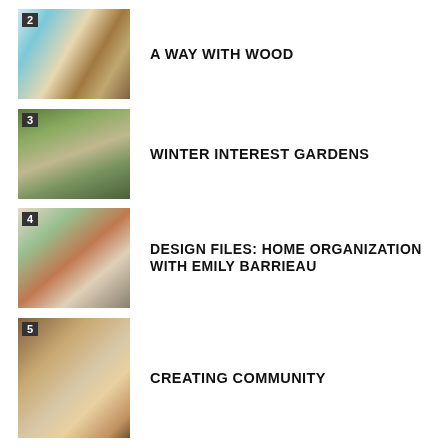2 A WAY WITH WOOD
3 WINTER INTEREST GARDENS
4 DESIGN FILES: HOME ORGANIZATION WITH EMILY BARRIEAU
5 CREATING COMMUNITY